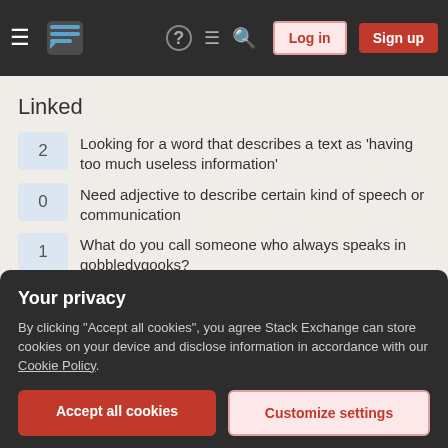Stack Exchange navigation bar with Log in and Sign up buttons
Linked
2 — Looking for a word that describes a text as 'having too much useless information'
0 — Need adjective to describe certain kind of speech or communication
1 — What do you call someone who always speaks in gobbledygooks?
22 — Is there a word for a person who gives out too many extraneous details?
15 — What is a term or idiom for "blah blah blah" talk?
Your privacy
By clicking "Accept all cookies", you agree Stack Exchange can store cookies on your device and disclose information in accordance with our Cookie Policy.
Accept all cookies   Customize settings
1 — Words describing people that cannot stop talking